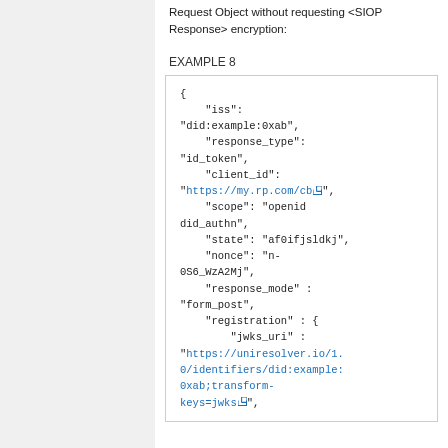Request Object without requesting <SIOP Response> encryption:
EXAMPLE 8
[Figure (screenshot): Code block showing a JSON example (EXAMPLE 8) of a SIOP request object with fields: iss, response_type, client_id, scope, state, nonce, response_mode, registration with jwks_uri containing a uniresolver URL.]